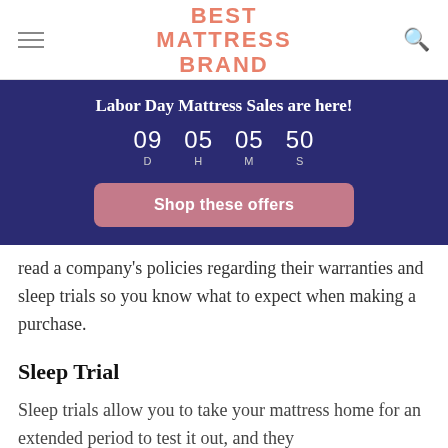BEST MATTRESS BRAND
[Figure (infographic): Promotional banner with countdown timer showing 09 D 05 H 05 M 50 S and a 'Shop these offers' button on dark blue background. Title: Labor Day Mattress Sales are here!]
read a company's policies regarding their warranties and sleep trials so you know what to expect when making a purchase.
Sleep Trial
Sleep trials allow you to take your mattress home for an extended period to test it out, and they